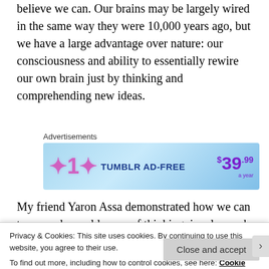believe we can. Our brains may be largely wired in the same way they were 10,000 years ago, but we have a large advantage over nature: our consciousness and ability to essentially rewire our own brain just by thinking and comprehending new ideas.
[Figure (screenshot): Tumblr AD-FREE advertisement banner showing $39.99 a year price]
My friend Yaron Assa demonstrated how we can transcend our old ways of thinking, in a lesson he
Privacy & Cookies: This site uses cookies. By continuing to use this website, you agree to their use.
To find out more, including how to control cookies, see here: Cookie Policy